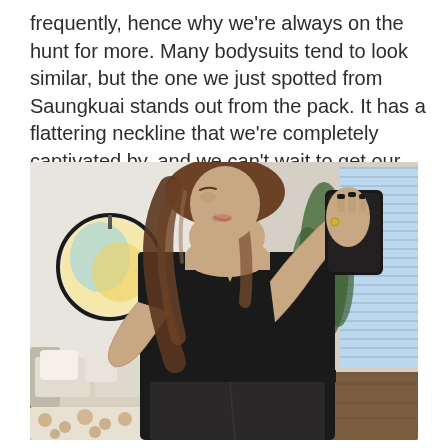frequently, hence why we're always on the hunt for more. Many bodysuits tend to look similar, but the one we just spotted from Saungkuai stands out from the pack. It has a flattering neckline that we're completely captivated by, and we can't wait to get our hands on it.
[Figure (photo): A woman taking a mirror selfie wearing a black bodysuit with a square neckline with notch detail and a black leather skirt. The background shows a bedroom/living space with a round mirror, a white sofa with pillows, a plant, and window blinds.]